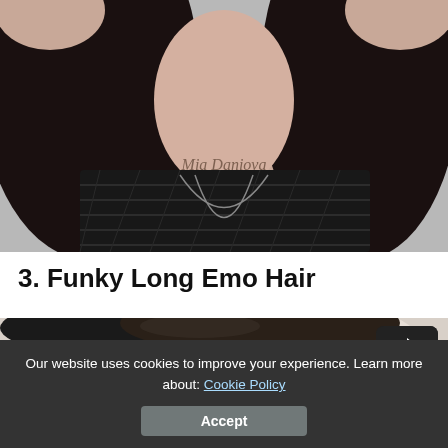[Figure (photo): Photo of a woman with dark long hair, wearing a black mesh top and a chain necklace, with a cursive script tattoo across her chest. She has her hands raised behind her head.]
3. Funky Long Emo Hair
[Figure (photo): Partial photo of a person with long dark emo-style hair, seen from the back/side. A dark square share button icon is visible in the top-right corner of the photo.]
Our website uses cookies to improve your experience. Learn more about: Cookie Policy
Accept